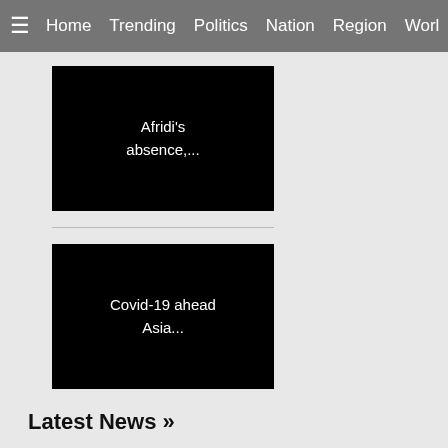≡  Home  Trending  Politics  Nation  Region  Worl
[Figure (screenshot): News card with text: Afridi's absence,...]
[Figure (screenshot): News card with text: Covid-19 ahead Asia...]
[Figure (screenshot): News card with text: under captaincy of KL...]
[Figure (screenshot): News card with text: Gavaskar Trophy]
Latest News »